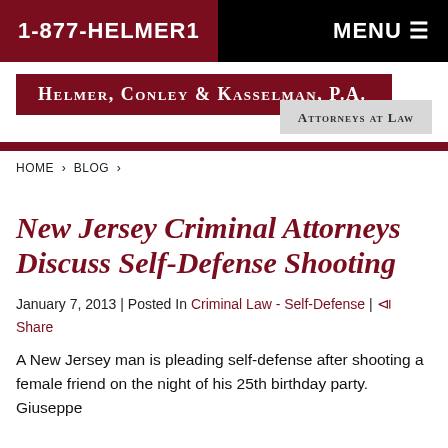1-877-HELMER1 | MENU
[Figure (logo): Helmer, Conley & Kasselman, P.A. — Attorneys at Law law firm logo with dark red background and gray tagline bar]
HOME > BLOG >
New Jersey Criminal Attorneys Discuss Self-Defense Shooting
January 7, 2013 | Posted In Criminal Law - Self-Defense | Share
A New Jersey man is pleading self-defense after shooting a female friend on the night of his 25th birthday party. Giuseppe